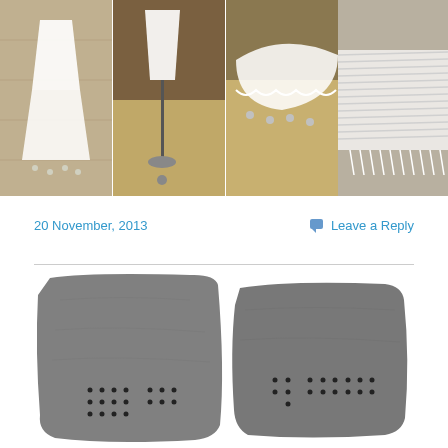[Figure (photo): Four-panel photo collage showing white fabric/textile art pieces on various backgrounds including wood and sand, with dangling elements]
20 November, 2013
Leave a Reply
[Figure (photo): Two dark grey stone or slate tablets side by side on white background, each with small black dots arranged in a grid pattern in the lower center area]